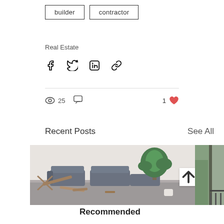builder
contractor
Real Estate
[Figure (infographic): Social share icons: Facebook, Twitter, LinkedIn, link/chain]
25 views, 0 comments, 1 like
Recent Posts
See All
[Figure (photo): Interior photo showing a flooded living room with a grey sectional sofa, wood debris, and a green plant]
Recommended